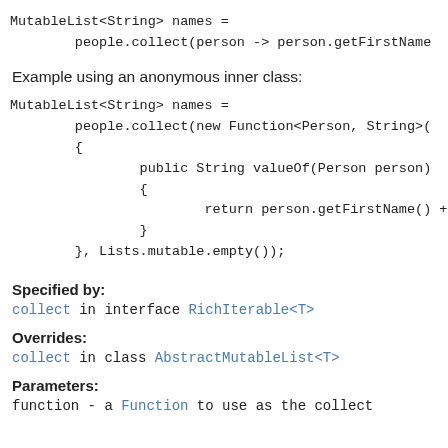MutableList<String> names =
        people.collect(person -> person.getFirstName
Example using an anonymous inner class:
MutableList<String> names =
        people.collect(new Function<Person, String>(
        {
                public String valueOf(Person person)
                {
                        return person.getFirstName() + " " +
                }
        }, Lists.mutable.empty());
Specified by:
collect in interface RichIterable<T>
Overrides:
collect in class AbstractMutableList<T>
Parameters:
function - a Function to use as the collect